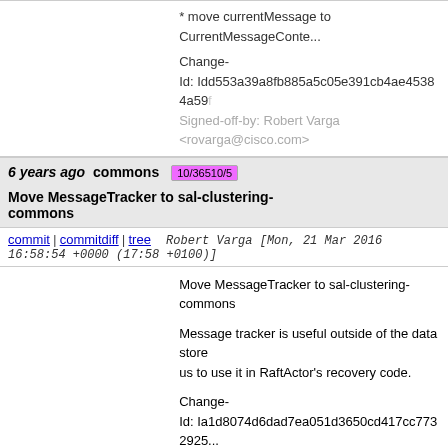* move currentMessage to CurrentMessageContext

Change-Id: Idd553a39a8fb885a5c05e391cb4ae45384a59...
Signed-off-by: Robert Varga <rovarga@cisco.com>
6 years ago   commons   10/36510/5   Move MessageTracker to sal-clustering-commons
commit | commitdiff | tree   Robert Varga [Mon, 21 Mar 2016 16:58:54 +0000 (17:58 +0100)]
Move MessageTracker to sal-clustering-commons

Message tracker is useful outside of the data store us to use it in RaftActor's recovery code.

Change-Id: Ia1d8074d6dad7ea051d3650cd417cc7732925...
Signed-off-by: Robert Varga <rovarga@cisco.com>
6 years ago   Drop -XX:MaxPermSize   81/35981/2
commit | commitdiff | tree   Stephen Kitt [Wed, 9 Mar 2016 11:21:48 +0000 (12:21 +0100)]
Drop -XX:MaxPermSize